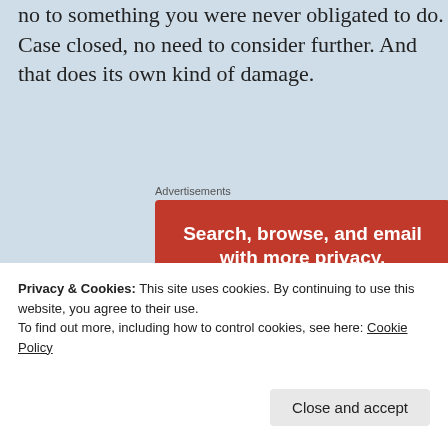no to something you were never obligated to do. Case closed, no need to consider further. And that does its own kind of damage.
Advertisements
[Figure (screenshot): DuckDuckGo advertisement banner showing 'Search, browse, and email with more privacy. All in One Free App' with a phone displaying the DuckDuckGo logo on an orange background]
Privacy & Cookies: This site uses cookies. By continuing to use this website, you agree to their use.
To find out more, including how to control cookies, see here: Cookie Policy
Close and accept